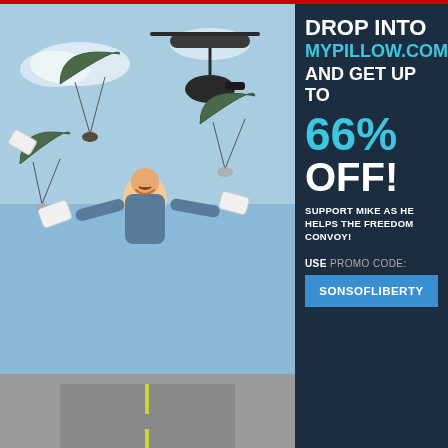[Figure (photo): MyPillow advertisement showing a person skydiving/parachuting with pillows and parachutes, plus a convoy of trucks below. Right panel has dark blue background with ad text.]
DROP INTO MYPILLOW.COM AND GET UP TO 66% OFF! SUPPORT MIKE AS HE HELPS THE FREEDOM CONVOY! USE PROMO CODE: SONSOFLIBERTY
Promoted ×
[Figure (photo): ATM receipt showing transaction details: CARD NUMBER ***5561, TRANSACTION WITHDRAWAL, ACCOUNT FROM CHECKING, DISPENSED AMOUNT $100.00, REQUESTED AMOUNT $100.00, SURCHARGE AMOUNT $1.50, TOTAL AMOUNT $101.50, LEDGER BALANCE $423,823.00]
5 Ways To Escape Debt You've Never Tried
🔥 671
[Figure (photo): Fitness/workout photo showing two people exercising, with a circular play button overlay]
Celeb Trainer: How To Stay Strong For Aging Americans
🔥 1,920